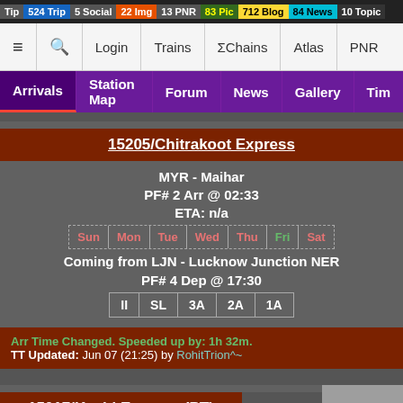Tip | 524 Trip | 5 Social | 22 Img | 13 PNR | 83 Pic | 712 Blog | 84 News | 10 Topic
≡ | 🔍 | Login | Trains | ΣChains | Atlas | PNR
Arrivals | Station Map | Forum | News | Gallery | Tim
15205/Chitrakoot Express
MYR - Maihar
PF# 2 Arr @ 02:33
ETA: n/a
Sun | Mon | Tue | Wed | Thu | Fri | Sat
Coming from LJN - Lucknow Junction NER
PF# 4 Dep @ 17:30
II | SL | 3A | 2A | 1A
Arr Time Changed. Speeded up by: 1h 32m.
TT Updated: Jun 07 (21:25) by RohitTrion^~
15017/Kashi Express (PT)